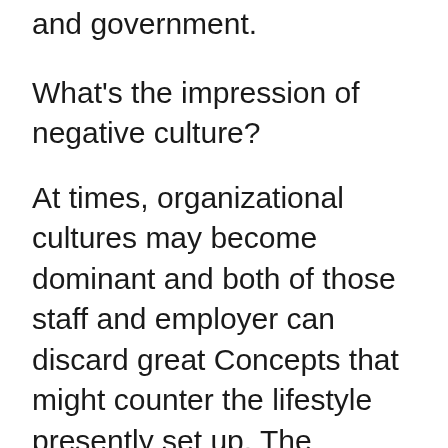and government.
What's the impression of negative culture?
At times, organizational cultures may become dominant and both of those staff and employer can discard great Concepts that might counter the lifestyle presently set up. The competitive edge can be misplaced if organizations usually do not adapt to variations out there and a far more open and versatile tradition.
Change Management's Attitude
Strengthening organization lifestyle is not merely modify management, but it's a reformation of your entire company. The